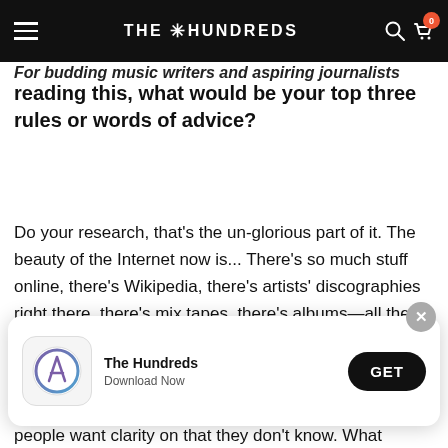THE HUNDREDS
For budding music writers and aspiring journalists reading this, what would be your top three rules or words of advice?
reading this, what would be your top three rules or words of advice?
Do your research, that's the un-glorious part of it. The beauty of the Internet now is... There's so much stuff online, there's Wikipedia, there's artists' discographies right there, there's mix tapes, there's albums—all the information is there. But you really have to take the time to get into it and connect to it. Download all the music, read a lot of the articles that are written about
[Figure (screenshot): App download banner for The Hundreds app with icon, name, 'Download Now' subtitle, and GET button]
people want clarity on that they don't know. What